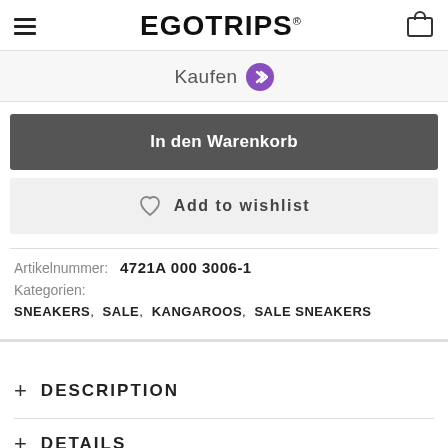EGOTRIPS
Kaufen
In den Warenkorb
Add to wishlist
Artikelnummer: 4721A 000 3006-1
Kategorien: SNEAKERS, SALE, KANGAROOS, SALE SNEAKERS
+ DESCRIPTION
+ DETAILS